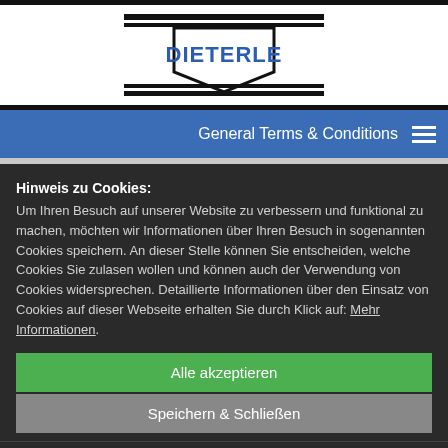[Figure (logo): DIETERLE company logo — shield/crest shape with bold blue text on white background, black border stripes]
General Terms & Conditions
Hinweis zu Cookies:
Um Ihren Besuch auf unserer Website zu verbessern und funktional zu machen, möchten wir Informationen über Ihren Besuch in sogenannten Cookies speichern. An dieser Stelle können Sie entscheiden, welche Cookies Sie zulasen wollen und können auch der Verwendung von Cookies widersprechen. Detaillierte Informationen über den Einsatz von Cookies auf dieser Webseite erhalten Sie durch Klick auf: Mehr Informationen.
Alle akzeptieren
Speichern & Schließen
Cookies zulassen: ☑ Notwendig ☐ Marketing   Details